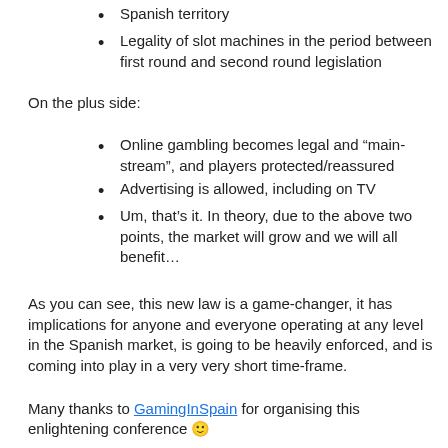Spanish territory
Legality of slot machines in the period between first round and second round legislation
On the plus side:
Online gambling becomes legal and “main-stream”, and players protected/reassured
Advertising is allowed, including on TV
Um, that’s it. In theory, due to the above two points, the market will grow and we will all benefit…
As you can see, this new law is a game-changer, it has implications for anyone and everyone operating at any level in the Spanish market, is going to be heavily enforced, and is coming into play in a very very short time-frame.
Many thanks to GamingInSpain for organising this enlightening conference 🙂